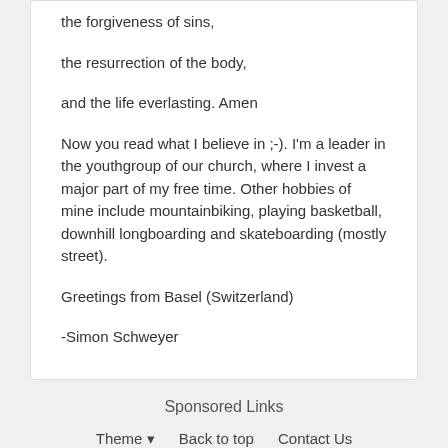the forgiveness of sins,
the resurrection of the body,
and the life everlasting. Amen
Now you read what I believe in ;-). I'm a leader in the youthgroup of our church, where I invest a major part of my free time. Other hobbies of mine include mountainbiking, playing basketball, downhill longboarding and skateboarding (mostly street).
Greetings from Basel (Switzerland)
-Simon Schweyer
Sponsored Links
Theme ▾   Back to top   Contact Us
Powered by Invision Community